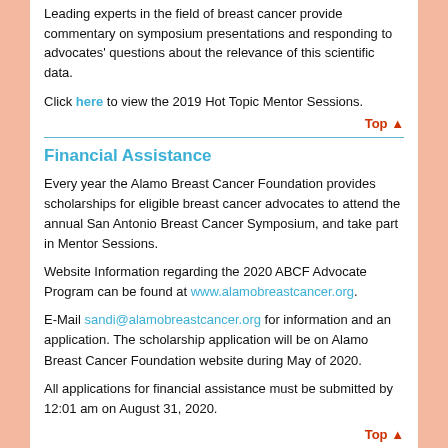Leading experts in the field of breast cancer provide commentary on symposium presentations and responding to advocates' questions about the relevance of this scientific data.
Click here to view the 2019 Hot Topic Mentor Sessions.
Top ▲
Financial Assistance
Every year the Alamo Breast Cancer Foundation provides scholarships for eligible breast cancer advocates to attend the annual San Antonio Breast Cancer Symposium, and take part in Mentor Sessions.
Website Information regarding the 2020 ABCF Advocate Program can be found at www.alamobreastcancer.org.
E-Mail sandi@alamobreastcancer.org for information and an application. The scholarship application will be on Alamo Breast Cancer Foundation website during May of 2020.
All applications for financial assistance must be submitted by 12:01 am on August 31, 2020.
Top ▲